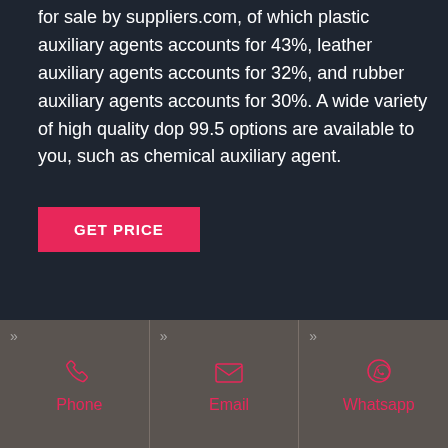for sale by suppliers.com, of which plastic auxiliary agents accounts for 43%, leather auxiliary agents accounts for 32%, and rubber auxiliary agents accounts for 30%. A wide variety of high quality dop 99.5 options are available to you, such as chemical auxiliary agent.
[Figure (other): Pink 'GET PRICE' button]
[Figure (infographic): Footer bar with three contact options: Phone (phone icon), Email (envelope icon), Whatsapp (WhatsApp icon), each with a chevron (>>) at the top left of the column]